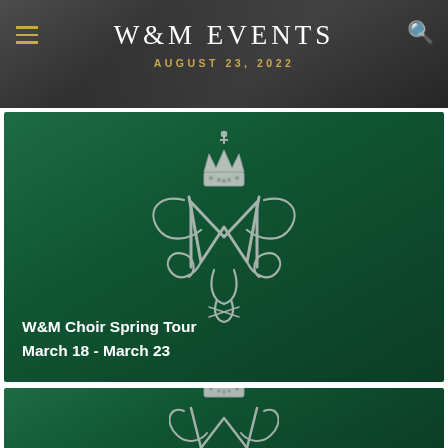W&M EVENTS
AUGUST 23, 2022
[Figure (illustration): W&M Choir Spring Tour event card with green background and W&M royal cypher logo]
W&M Choir Spring Tour
March 18 - March 23
[Figure (illustration): Second W&M event card with green background and partial W&M royal cypher logo visible]